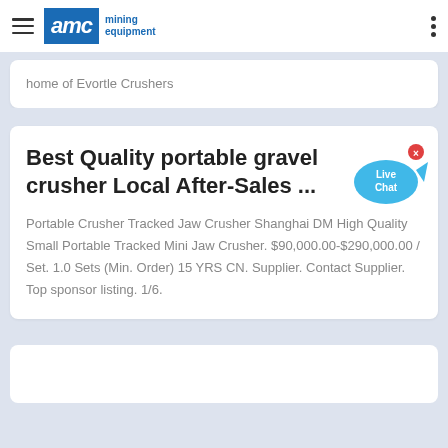AMC mining equipment
home of Evortle Crushers
Best Quality portable gravel crusher Local After-Sales ...
Portable Crusher Tracked Jaw Crusher Shanghai DM High Quality Small Portable Tracked Mini Jaw Crusher. $90,000.00-$290,000.00 / Set. 1.0 Sets (Min. Order) 15 YRS CN. Supplier. Contact Supplier. Top sponsor listing. 1/6.